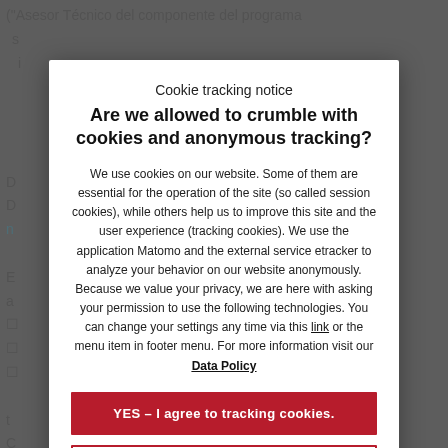("Asesor Técnico del componente del programa s... i...
Cookie tracking notice
Are we allowed to crumble with cookies and anonymous tracking?
We use cookies on our website. Some of them are essential for the operation of the site (so called session cookies), while others help us to improve this site and the user experience (tracking cookies). We use the application Matomo and the external service etracker to analyze your behavior on our website anonymously. Because we value your privacy, we are here with asking your permission to use the following technologies. You can change your settings any time via this link or the menu item in footer menu. For more information visit our Data Policy
YES – I agree to tracking cookies.
No thanks – I agree to session cookies